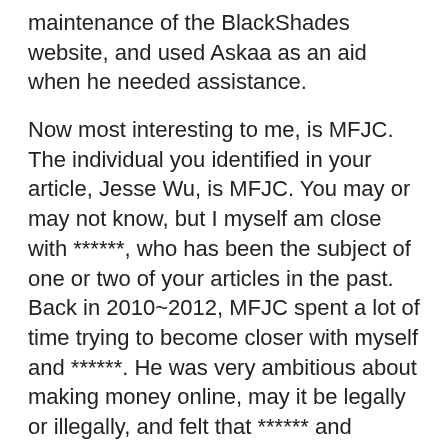maintenance of the BlackShades website, and used Askaa as an aid when he needed assistance.
Now most interesting to me, is MFJC. The individual you identified in your article, Jesse Wu, is MFJC. You may or may not know, but I myself am close with ******, who has been the subject of one or two of your articles in the past. Back in 2010~2012, MFJC spent a lot of time trying to become closer with myself and ******. He was very ambitious about making money online, may it be legally or illegally, and felt that ****** and myself could assist him in such. We learned a fair bit about him back then, but ultimately did not to be associated with him. We did get to know him enough for him to reveal his identity to us. Back then, MFJC aka Jesse Wu was responsible for the following projects:
mfjcstudios(dot)com — his personal portal